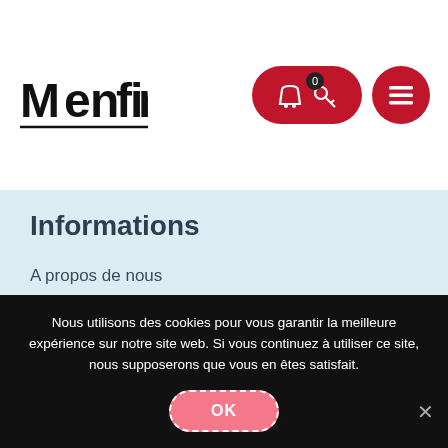[Figure (logo): Menfin brand logo in handwritten black text style]
Informations
A propos de nous
Contact
Mon compte
Nous utilisons des cookies pour vous garantir la meilleure expérience sur notre site web. Si vous continuez à utiliser ce site, nous supposerons que vous en êtes satisfait.